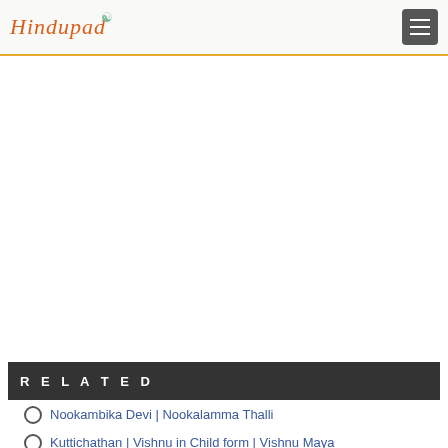Hindupad
[Figure (other): Advertisement area (blank white space)]
RELATED
Nookambika Devi | Nookalamma Thalli
Kuttichathan | Vishnu in Child form | Vishnu Maya